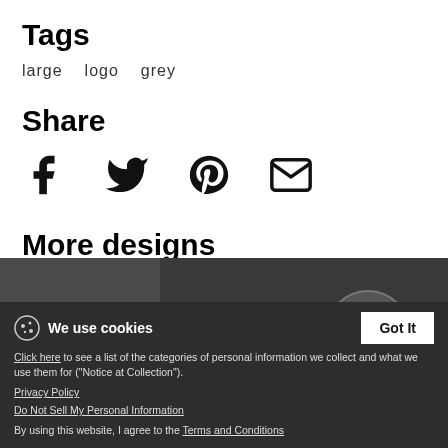Tags
large   logo   grey
Share
[Figure (infographic): Social share icons: Facebook, Twitter, Pinterest, Email]
More designs
[Figure (screenshot): Cookie consent banner with 'We use cookies', Got It button, links to Privacy Policy and Do Not Sell My Personal Information, and Terms and Conditions. Also shows partial design thumbnails including 'Logo large 03 Icon 1698x1695 png' and 'shirt final black png'.]
Click here to see a list of the categories of personal information we collect and what we use them for ("Notice at Collection").
Privacy Policy
Do Not Sell My Personal Information
By using this website, I agree to the Terms and Conditions